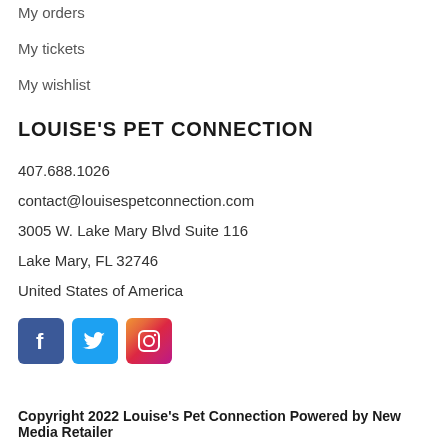My orders
My tickets
My wishlist
LOUISE'S PET CONNECTION
407.688.1026
contact@louisespetconnection.com
3005 W. Lake Mary Blvd Suite 116
Lake Mary, FL 32746
United States of America
[Figure (logo): Facebook, Twitter, and Instagram social media icons]
Copyright 2022 Louise's Pet Connection Powered by New Media Retailer